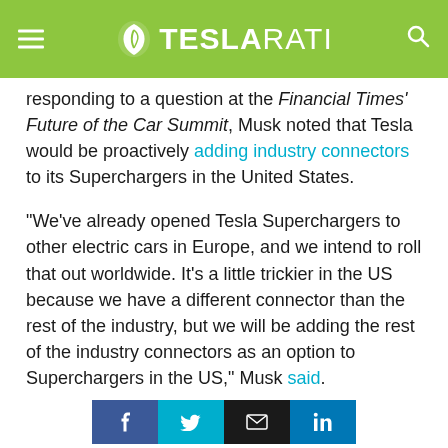TESLARATI
responding to a question at the Financial Times' Future of the Car Summit, Musk noted that Tesla would be proactively adding industry connectors to its Superchargers in the United States.
“We’ve already opened Tesla Superchargers to other electric cars in Europe, and we intend to roll that out worldwide. It’s a little trickier in the US because we have a different connector than the rest of the industry, but we will be adding the rest of the industry connectors as an option to Superchargers in the US,” Musk said.
Share buttons: Facebook, Twitter, Email, LinkedIn